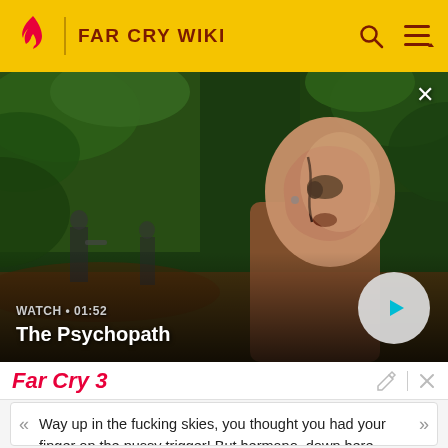FAR CRY WIKI
[Figure (screenshot): Video thumbnail showing a character from Far Cry 3 with face tattoos in a jungle setting. Text overlay reads 'WATCH • 01:52' and 'The Psychopath' with a play button.]
Far Cry 3
Way up in the fucking skies, you thought you had your finger on the pussy trigger! But hermano, down here, down here … you hit the ground.